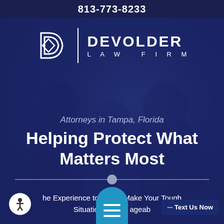813-773-8233
[Figure (logo): Devolder Law Firm logo with stylized D icon and firm name in white on dark blue background]
Attorneys in Tampa, Florida
Helping Protect What Matters Most
The Experience to Make Your Tough Situation Manageable
[Figure (infographic): Accessibility icon button (person in circle), hamburger menu button in blue, and Text Us Now button]